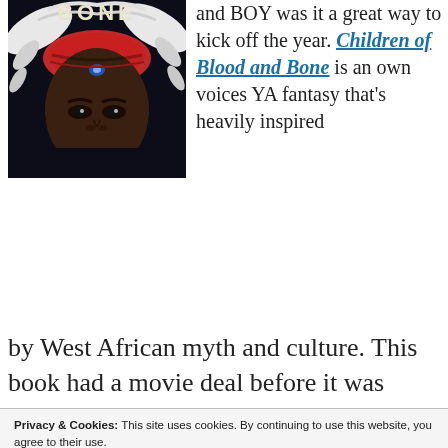[Figure (illustration): Book cover of 'Children of Blood and Bone' showing a close-up of a dark-skinned woman's face with white hair, red headband, and ornate headpiece against a dark background. The word 'BONE' is visible at the top.]
and BOY was it a great way to kick off the year. Children of Blood and Bone is an own voices YA fantasy that's heavily inspired by West African myth and culture. This book had a movie deal before it was even released and it's such a unique magic system with
Privacy & Cookies: This site uses cookies. By continuing to use this website, you agree to their use.
To find out more, including how to control cookies, see here: Cookie Policy